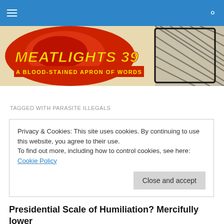Navigation bar with hamburger menu and search icon
[Figure (illustration): Meatlights 39 blog banner — red illustrated graphic with yellow stylized text 'MEATLIGHTS 39' and subtitle 'A BLOOD-STAINED APRON OF WORDS' on red/cream background]
TAGGED WITH PARASITE ILLEGALS
Privacy & Cookies: This site uses cookies. By continuing to use this website, you agree to their use.
To find out more, including how to control cookies, see here: Cookie Policy
Close and accept
Presidential Scale of Humiliation? Mercifully lower